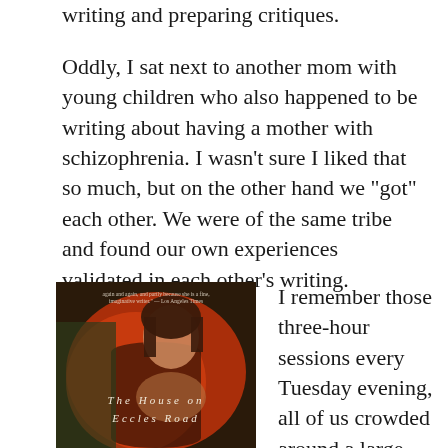writing and preparing critiques.
Oddly, I sat next to another mom with young children who also happened to be writing about having a mother with schizophrenia. I wasn't sure I liked that so much, but on the other hand we “got” each other. We were of the same tribe and found our own experiences validated in each other’s writing.
[Figure (photo): Book cover of 'The House on Eccles Road' showing a woman's face against a red/dark background with text 'THE HOUSE ON ECCLES ROAD']
I remember those three-hour sessions every Tuesday evening, all of us crowded around a large conference